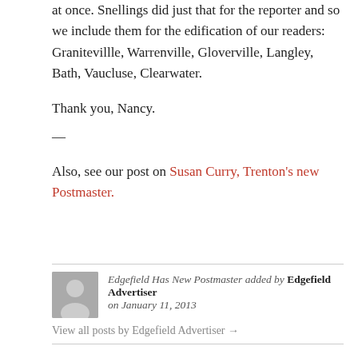at once.  Snellings did just that for the reporter and so we include them for the edification of our readers: Granitevillle, Warrenville, Gloverville, Langley, Bath, Vaucluse, Clearwater.
Thank you, Nancy.
—
Also, see our post on Susan Curry, Trenton's new Postmaster.
Edgefield Has New Postmaster added by Edgefield Advertiser on January 11, 2013
View all posts by Edgefield Advertiser →